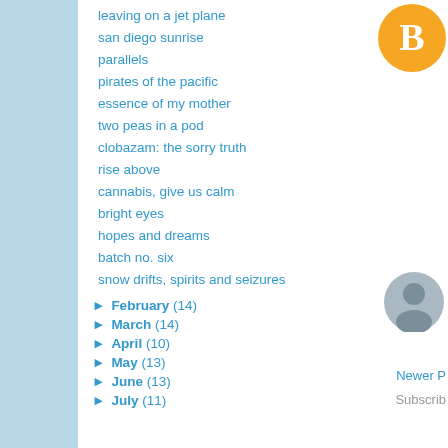leaving on a jet plane
san diego sunrise
parallels
pirates of the pacific
essence of my mother
two peas in a pod
clobazam: the sorry truth
rise above
cannabis, give us calm
bright eyes
hopes and dreams
batch no. six
snow drifts, spirits and seizures
► February (14)
► March (14)
► April (10)
► May (13)
► June (13)
► July (11)